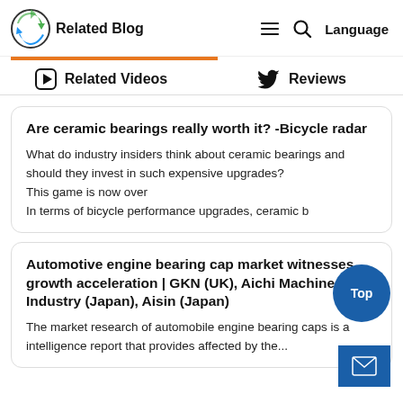Related Blog
Related Videos	Reviews
Are ceramic bearings really worth it? -Bicycle radar
What do industry insiders think about ceramic bearings and should they invest in such expensive upgrades?
This game is now over
In terms of bicycle performance upgrades, ceramic b
Automotive engine bearing cap market witnesses growth acceleration | GKN (UK), Aichi Machine Industry (Japan), Aisin (Japan)
The market research of automobile engine bearing caps is a intelligence report that provides affected by the...